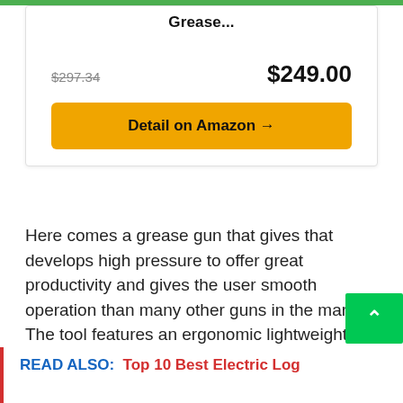Grease...
$297.34   $249.00
Detail on Amazon →
Here comes a grease gun that gives that develops high pressure to offer great productivity and gives the user smooth operation than many other guns in the market. The tool features an ergonomic lightweight handle that is designed for greater user comfort during prolonged
READ ALSO:  Top 10 Best Electric Log